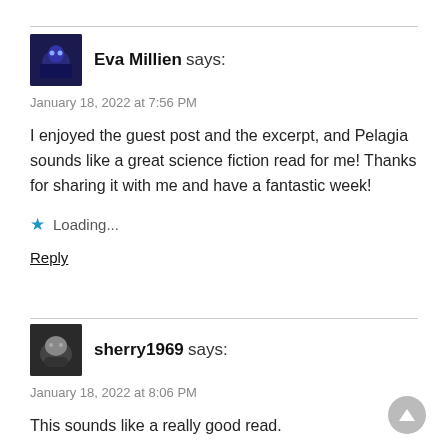[Figure (photo): Avatar image of Eva Millien — dark blue/purple tones]
Eva Millien says:
January 18, 2022 at 7:56 PM
I enjoyed the guest post and the excerpt, and Pelagia sounds like a great science fiction read for me! Thanks for sharing it with me and have a fantastic week!
Loading...
Reply
[Figure (photo): Avatar image of sherry1969 — dark tones with animal figure]
sherry1969 says:
January 18, 2022 at 8:06 PM
This sounds like a really good read.